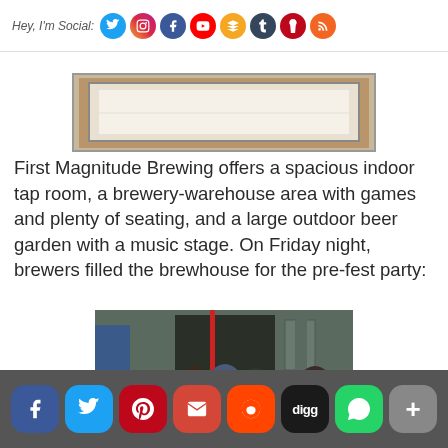Hey, I'm Social: [Twitter] [Instagram] [Facebook] [YouTube] [Google+] [Tumblr] [Pinterest] [RSS]
[Figure (photo): Partial view of a framed sign or artwork at First Magnitude Brewing]
First Magnitude Brewing offers a spacious indoor tap room, a brewery-warehouse area with games and plenty of seating, and a large outdoor beer garden with a music stage. On Friday night, brewers filled the brewhouse for the pre-fest party:
[Figure (photo): Crowd of brewers filling the brewhouse at First Magnitude Brewing for the pre-fest party; industrial warehouse interior with brewing equipment visible in the background]
[Facebook] [Twitter] [Pinterest] [Gmail] [Reddit] [Digg] [WhatsApp] [More]